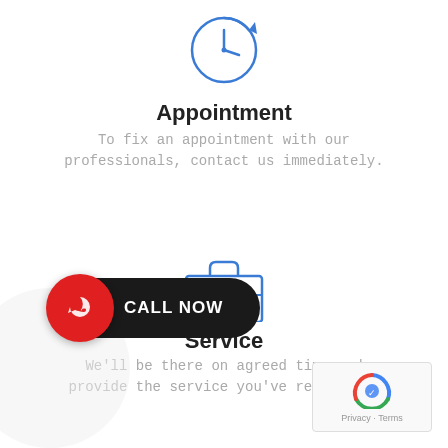[Figure (illustration): Blue clock/appointment icon with circular arrows at top]
Appointment
To fix an appointment with our professionals, contact us immediately.
[Figure (illustration): Blue briefcase/toolbox service icon]
Service
We'll be there on agreed time and provide the service you've requested.
[Figure (illustration): Call Now button with WhatsApp-style phone icon on red circle and black pill background]
[Figure (illustration): Google reCAPTCHA badge in bottom right corner]